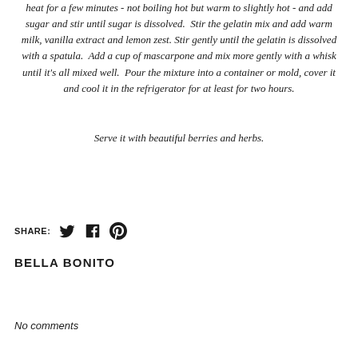heat for a few minutes - not boiling hot but warm to slightly hot - and add sugar and stir until sugar is dissolved. Stir the gelatin mix and add warm milk, vanilla extract and lemon zest. Stir gently until the gelatin is dissolved with a spatula. Add a cup of mascarpone and mix more gently with a whisk until it's all mixed well. Pour the mixture into a container or mold, cover it and cool it in the refrigerator for at least for two hours.
Serve it with beautiful berries and herbs.
SHARE:
BELLA BONITO
No comments